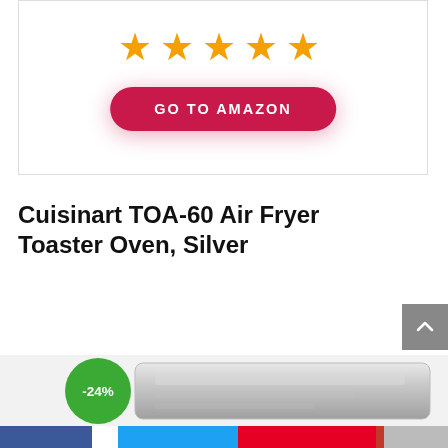[Figure (other): Five orange star rating icons displayed in a row inside a white card with border]
[Figure (other): Crimson/red rounded pill button labeled GO TO AMAZON in white bold uppercase letters]
Cuisinart TOA-60 Air Fryer Toaster Oven, Silver
[Figure (other): Gray scroll-to-top arrow button]
[Figure (other): Product image of Cuisinart TOA-60 silver toaster oven with a green -24% discount badge overlaid on the top left of the image]
[Figure (other): Social sharing bar at bottom with Facebook, Twitter, Pinterest and other share icons]